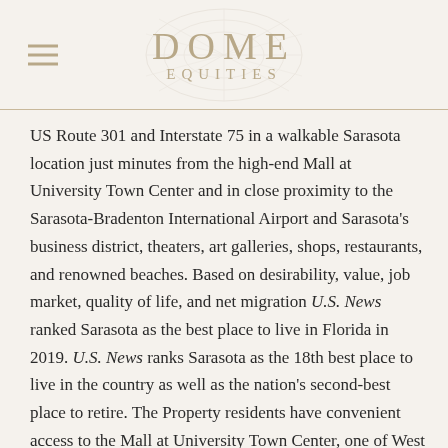DOME EQUITIES
US Route 301 and Interstate 75 in a walkable Sarasota location just minutes from the high-end Mall at University Town Center and in close proximity to the Sarasota-Bradenton International Airport and Sarasota's business district, theaters, art galleries, shops, restaurants, and renowned beaches. Based on desirability, value, job market, quality of life, and net migration U.S. News ranked Sarasota as the best place to live in Florida in 2019. U.S. News ranks Sarasota as the 18th best place to live in the country as well as the nation's second-best place to retire. The Property residents have convenient access to the Mall at University Town Center, one of West Florida's premier retail centers. The Mall at UTC is a world-class fashion and dining destination that features approximately 880,000 square feet of retail space with